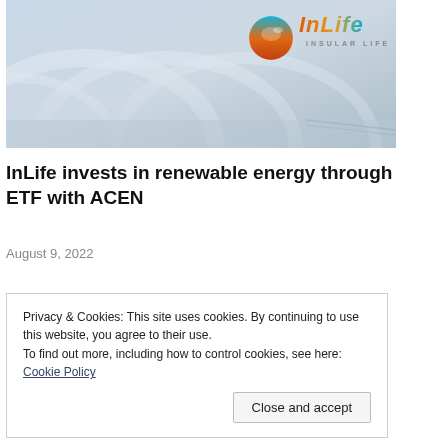[Figure (photo): Aerial photo of a building with curved roof structures, overlaid with the InLife Insular Life logo (colorful bird icon and stylized text) in the upper right area.]
InLife invests in renewable energy through ETF with ACEN
August 9, 2022
Privacy & Cookies: This site uses cookies. By continuing to use this website, you agree to their use. To find out more, including how to control cookies, see here: Cookie Policy